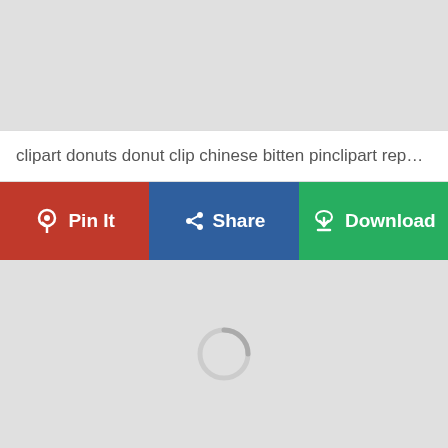[Figure (screenshot): Top gray placeholder area]
clipart donuts donut clip chinese bitten pinclipart report ...
[Figure (screenshot): Three action buttons: Pin It (red), Share (blue), Download (green)]
[Figure (screenshot): Large gray content area with a loading spinner in the center]